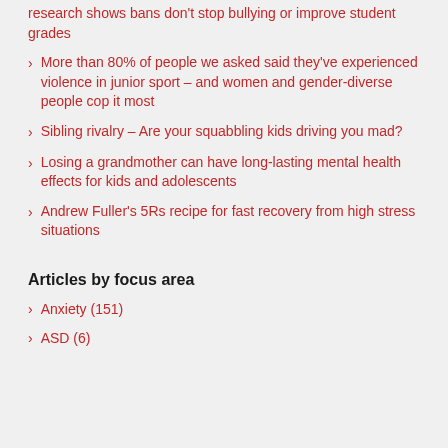research shows bans don't stop bullying or improve student grades
More than 80% of people we asked said they've experienced violence in junior sport – and women and gender-diverse people cop it most
Sibling rivalry – Are your squabbling kids driving you mad?
Losing a grandmother can have long-lasting mental health effects for kids and adolescents
Andrew Fuller's 5Rs recipe for fast recovery from high stress situations
Articles by focus area
Anxiety (151)
ASD (6)